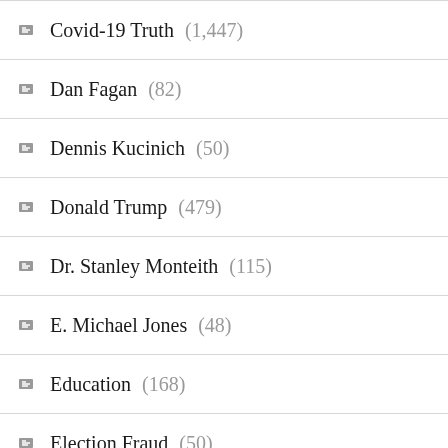Covid-19 Truth (1,447)
Dan Fagan (82)
Dennis Kucinich (50)
Donald Trump (479)
Dr. Stanley Monteith (115)
E. Michael Jones (48)
Education (168)
Election Fraud (50)
Electromagnetic Pulse – EMP (91)